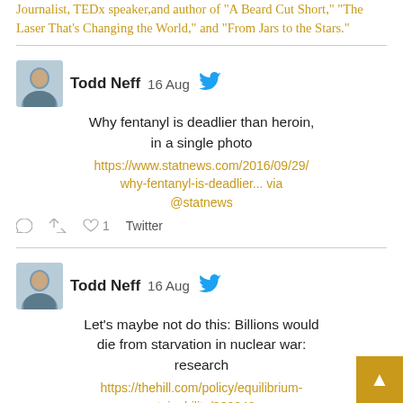Journalist, TEDx speaker, and author of "A Beard Cut Short," "The Laser That's Changing the World," and "From Jars to the Stars."
Todd Neff  16 Aug
Why fentanyl is deadlier than heroin, in a single photo
https://www.statnews.com/2016/09/29/why-fentanyl-is-deadlier... via @statnews
Todd Neff  16 Aug
Let's maybe not do this: Billions would die from starvation in nuclear war: research
https://thehill.com/policy/equilibrium-sustainability/360240...